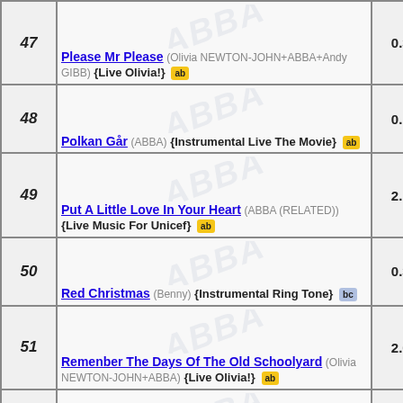| # | Title / Artist / Version | Value |
| --- | --- | --- |
| 47 | Please Mr Please (Olivia NEWTON-JOHN+ABBA+Andy GIBB) {Live Olivia!} ab | 0.31 |
| 48 | Polkan Går (ABBA) {Instrumental Live The Movie} ab | 0.11 |
| 49 | Put A Little Love In Your Heart (ABBA (RELATED)) {Live Music For Unicef} ab | 2.13 |
| 50 | Red Christmas (Benny) {Instrumental Ring Tone} bc | 0.38 |
| 51 | Remenber The Days Of The Old Schoolyard (Olivia NEWTON-JOHN+ABBA) {Live Olivia!} ab | 2.02 |
| 52 | Ring Ring (ABBA) {Live Tommy Cooper Show} ab | 2.39 |
| 53 | Ring Ring (ABBA) {Swedish Live (Bara Du Slog En Signal) Melodifestivalen} ab | 2.54 |
| 54 | Ring Ring (ABBA) {Swedish Medley ABBAdabadoo} ab |  |
| 55 | Ring Ring (ABBA) {Medley} ab |  |
| 56 | Ring Ring (BAO) {Swedish Live At Globen} ab | 2.42 |
| 57 | Rock Me (ABBA) {Live The Movie} ab | 2.21 |
| 58 | Rock'N'Roll Band (ABBA) {Live Eskilstuna | 6.23 |